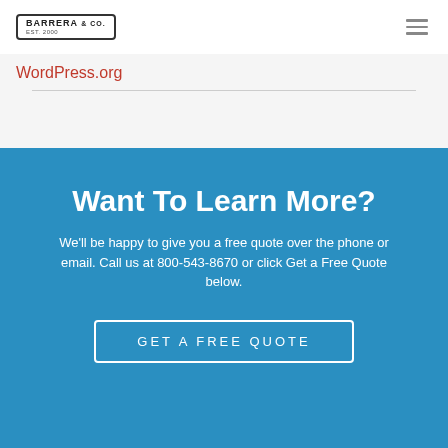BARRERA & CO. (logo with navigation hamburger menu)
WordPress.org
Want To Learn More?
We'll be happy to give you a free quote over the phone or email. Call us at 800-543-8670 or click Get a Free Quote below.
GET A FREE QUOTE